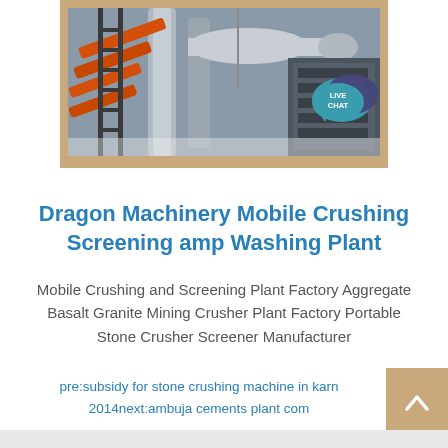[Figure (photo): Industrial machinery photo showing pipes, orange belts/conveyors, and metal framework of a crushing/screening plant, displayed inside a tan/beige border frame with a Live Chat bubble in the top right corner.]
Dragon Machinery Mobile Crushing Screening amp Washing Plant
Mobile Crushing and Screening Plant Factory Aggregate Basalt Granite Mining Crusher Plant Factory Portable Stone Crusher Screener Manufacturer
pre:subsidy for stone crushing machine in karn 2014next:ambuja cements plant com